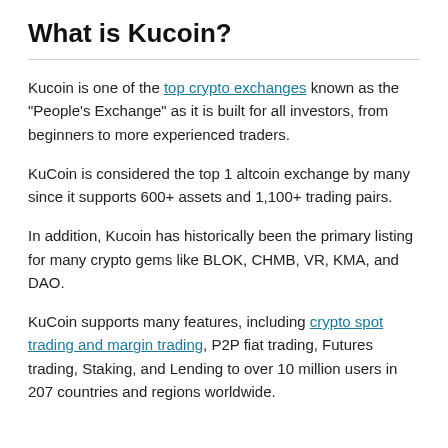What is Kucoin?
Kucoin is one of the top crypto exchanges known as the “People’s Exchange” as it is built for all investors, from beginners to more experienced traders.
KuCoin is considered the top 1 altcoin exchange by many since it supports 600+ assets and 1,100+ trading pairs.
In addition, Kucoin has historically been the primary listing for many crypto gems like BLOK, CHMB, VR, KMA, and DAO.
KuCoin supports many features, including crypto spot trading and margin trading, P2P fiat trading, Futures trading, Staking, and Lending to over 10 million users in 207 countries and regions worldwide.